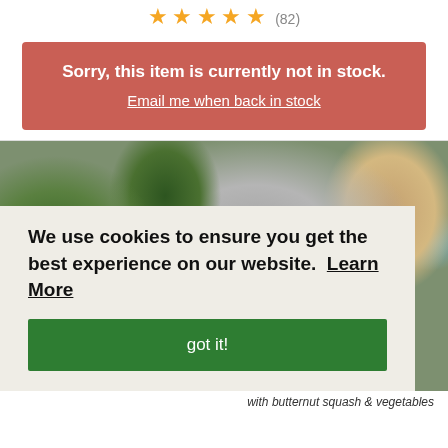★★★★½ (82)
Sorry, this item is currently not in stock.
Email me when back in stock
[Figure (screenshot): Blurred kitchen background photo with herbs and vegetables, product box visible at bottom]
We use cookies to ensure you get the best experience on our website.  Learn More
got it!
with butternut squash & vegetables